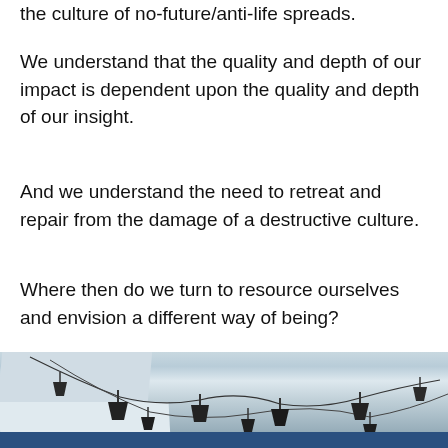the culture of no-future/anti-life spreads.
We understand that the quality and depth of our impact is dependent upon the quality and depth of our insight.
And we understand the need to retreat and repair from the damage of a destructive culture.
Where then do we turn to resource ourselves and envision a different way of being?
[Figure (photo): Interior view of a tent or marquee ceiling with hanging pendant lights connected by cables/wires, with a blue stripe visible at the bottom edge.]